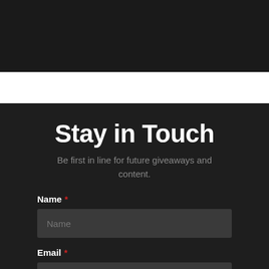Stay in Touch
Be first in line for future giveaways and content.
Name *
Email *